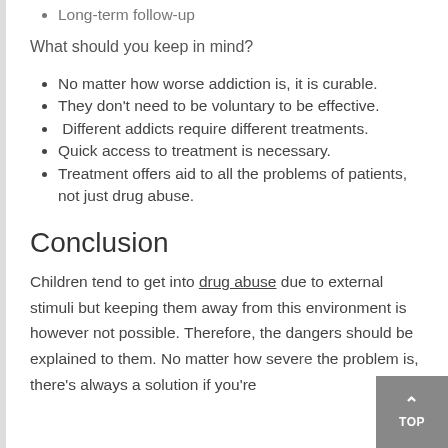Long-term follow-up
What should you keep in mind?
No matter how worse addiction is, it is curable.
They don't need to be voluntary to be effective.
Different addicts require different treatments.
Quick access to treatment is necessary.
Treatment offers aid to all the problems of patients, not just drug abuse.
Conclusion
Children tend to get into drug abuse due to external stimuli but keeping them away from this environment is however not possible. Therefore, the dangers should be explained to them. No matter how severe the problem is, there's always a solution if you're